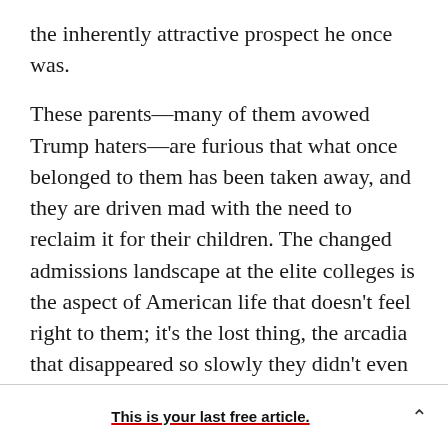the inherently attractive prospect he once was.

These parents—many of them avowed Trump haters—are furious that what once belonged to them has been taken away, and they are driven mad with the need to reclaim it for their children. The changed admissions landscape at the elite colleges is the aspect of American life that doesn't feel right to them; it's the lost thing, the arcadia that disappeared so slowly they didn't even realize it was happening until it was gone. They can't believe it—they truly can't believe it—when they realize that even the colleges they had assumed would be their child's
This is your last free article.